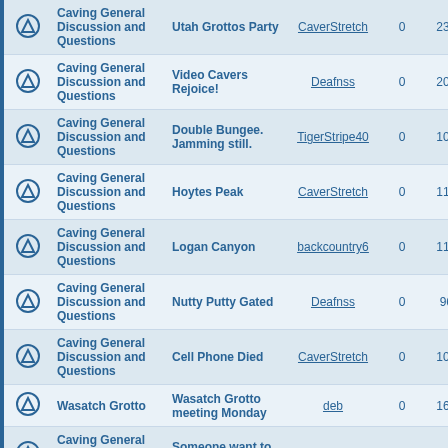|  | Forum | Topic | Author | Replies | Views | Last |
| --- | --- | --- | --- | --- | --- | --- |
|  | Caving General Discussion and Questions | Utah Grottos Party | CaverStretch | 0 | 23108 |  |
|  | Caving General Discussion and Questions | Video Cavers Rejoice! | Deafnss | 0 | 20695 |  |
|  | Caving General Discussion and Questions | Double Bungee. Jamming still. | TigerStripe40 | 0 | 10822 |  |
|  | Caving General Discussion and Questions | Hoytes Peak | CaverStretch | 0 | 11330 |  |
|  | Caving General Discussion and Questions | Logan Canyon | backcountry6 | 0 | 11145 |  |
|  | Caving General Discussion and Questions | Nutty Putty Gated | Deafnss | 0 | 9624 |  |
|  | Caving General Discussion and Questions | Cell Phone Died | CaverStretch | 0 | 10412 |  |
|  | Wasatch Grotto | Wasatch Grotto meeting Monday | deb | 0 | 16568 |  |
|  | Caving General Discussion and Questions | Someone want to do a presentation? | jasonbx | 0 | 9341 |  |